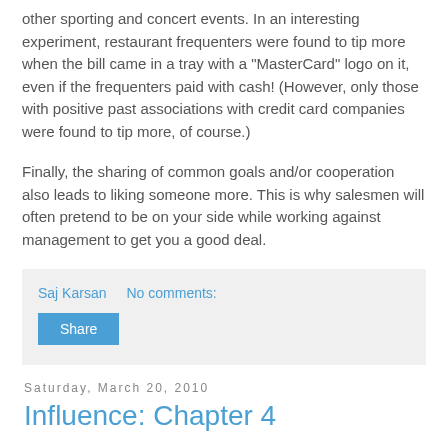other sporting and concert events. In an interesting experiment, restaurant frequenters were found to tip more when the bill came in a tray with a "MasterCard" logo on it, even if the frequenters paid with cash! (However, only those with positive past associations with credit card companies were found to tip more, of course.)
Finally, the sharing of common goals and/or cooperation also leads to liking someone more. This is why salesmen will often pretend to be on your side while working against management to get you a good deal.
Saj Karsan    No comments:
Share
Saturday, March 20, 2010
Influence: Chapter 4
Value investors believe that Mr. Market's mood swings